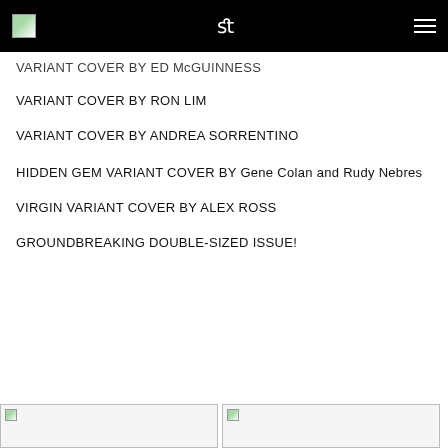VARIANT COVER BY ED McGUINNESS
VARIANT COVER BY RON LIM
VARIANT COVER BY ANDREA SORRENTINO
HIDDEN GEM VARIANT COVER BY Gene Colan and Rudy Nebres
VIRGIN VARIANT COVER BY ALEX ROSS
GROUNDBREAKING DOUBLE-SIZED ISSUE!
[Figure (photo): Thumbnail image placeholder 1]
[Figure (photo): Thumbnail image placeholder 2]